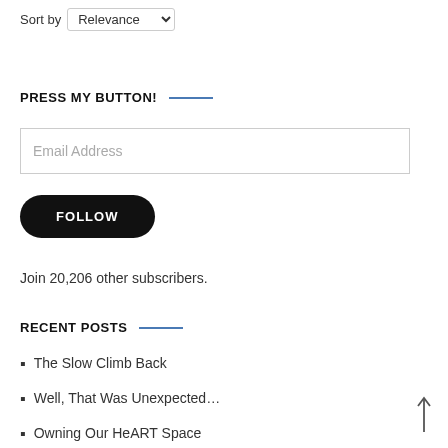Sort by Relevance
PRESS MY BUTTON!
Email Address
FOLLOW
Join 20,206 other subscribers.
RECENT POSTS
The Slow Climb Back
Well, That Was Unexpected...
Owning Our HeART Space